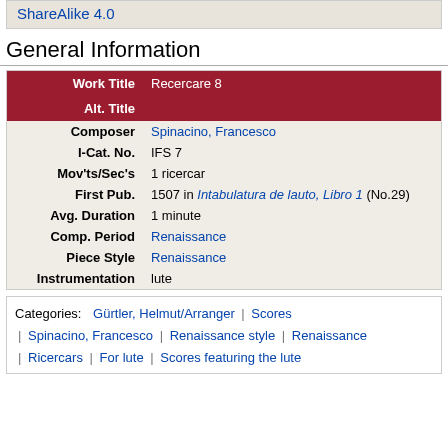ShareAlike 4.0
General Information
| Field | Value |
| --- | --- |
| Work Title | Recercare 8 |
| Alt. Title |  |
| Composer | Spinacino, Francesco |
| I-Cat. No. | IFS 7 |
| Mov'ts/Sec's | 1 ricercar |
| First Pub. | 1507 in Intabulatura de lauto, Libro 1 (No.29) |
| Avg. Duration | 1 minute |
| Comp. Period | Renaissance |
| Piece Style | Renaissance |
| Instrumentation | lute |
Categories: Gürtler, Helmut/Arranger | Scores | Spinacino, Francesco | Renaissance style | Renaissance | Ricercars | For lute | Scores featuring the lute